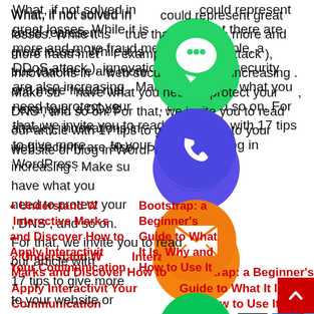What, if not solved in time, could represent great losses. While it is true that there are more and more fraud methods (for example, a DDoS attack ), innovations in web security are also increasing . Make sure you have what you need to protect your server, DNS , and so on. For that, we invite you to read our article with 17 tips to give more security to your website or blog in WordPress .
[Figure (infographic): Social media sharing buttons overlay: WhatsApp (green), Phone/Call (blue/purple), Email (orange), LINE (green), Email icon (black square), LinkedIn (blue square), Telegram (blue square), Pinterest (red square), Viber (purple), Close/X (green)]
« Understand What is Interactive Marketing and Discover How to Apply Interactivity in Your Communication
Bootstrap: a Beginner's Guide to What It Is, Why and How to Use It